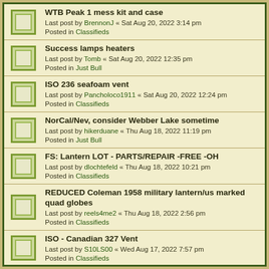WTB Peak 1 mess kit and case
Last post by BrennonJ « Sat Aug 20, 2022 3:14 pm
Posted in Classifieds
Success lamps heaters
Last post by Tomb « Sat Aug 20, 2022 12:35 pm
Posted in Just Bull
ISO 236 seafoam vent
Last post by Pancholoco1911 « Sat Aug 20, 2022 12:24 pm
Posted in Classifieds
NorCal/Nev, consider Webber Lake sometime
Last post by hikerduane « Thu Aug 18, 2022 11:19 pm
Posted in Just Bull
FS: Lantern LOT - PARTS/REPAIR -FREE -OH
Last post by dlochtefeld « Thu Aug 18, 2022 10:21 pm
Posted in Classifieds
REDUCED Coleman 1958 military lantern/us marked quad globes
Last post by reels4me2 « Thu Aug 18, 2022 2:56 pm
Posted in Classifieds
ISO - Canadian 327 Vent
Last post by S10LS00 « Wed Aug 17, 2022 7:57 pm
Posted in Classifieds
WTS Coleman 228D B/50 Pending
Last post by stickandrudder « Wed Aug 17, 2022 3:22 am
Posted in Classifieds